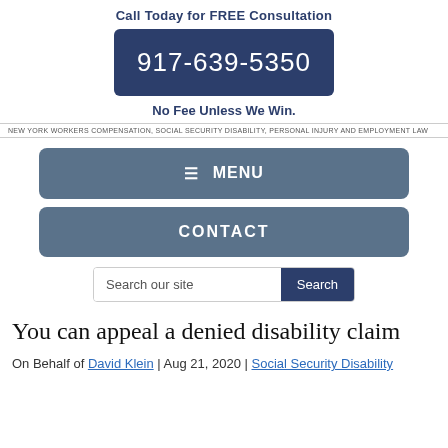Call Today for FREE Consultation
917-639-5350
No Fee Unless We Win.
NEW YORK WORKERS COMPENSATION, SOCIAL SECURITY DISABILITY, PERSONAL INJURY AND EMPLOYMENT LAW
☰ MENU
CONTACT
Search our site
You can appeal a denied disability claim
On Behalf of David Klein | Aug 21, 2020 | Social Security Disability